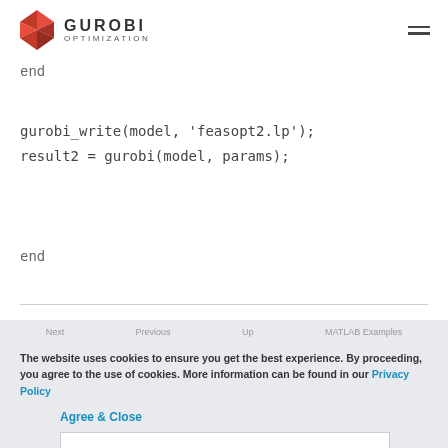GUROBI OPTIMIZATION
end
gurobi_write(model, 'feasopt2.lp');
result2 = gurobi(model, params);
end
Next   Previous   Up   MATLAB Examples
The website uses cookies to ensure you get the best experience. By proceeding, you agree to the use of cookies. More information can be found in our Privacy Policy
Agree & Close